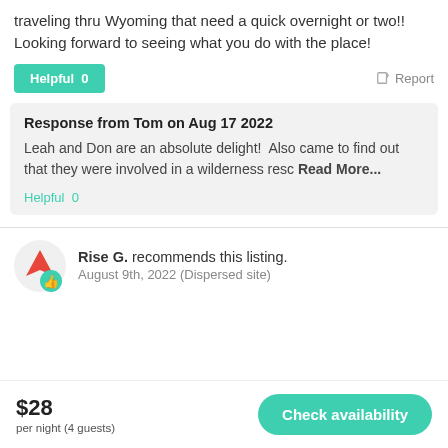traveling thru Wyoming that need a quick overnight or two!! Looking forward to seeing what you do with the place!
Helpful 0   Report
Response from Tom on Aug 17 2022
Leah and Don are an absolute delight!  Also came to find out that they were involved in a wilderness resc Read More...
Helpful 0
Rise G. recommends this listing. August 9th, 2022 (Dispersed site)
$28 per night (4 guests)   Check availability